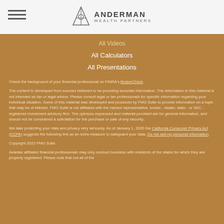Anderman Wealth Partners
All Videos
All Calculators
All Presentations
Check the background of your financial professional on FINRA's BrokerCheck.
The content is developed from sources believed to be providing accurate information. The information in this material is not intended as tax or legal advice. Please consult legal or tax professionals for specific information regarding your individual situation. Some of this material was developed and produced by FMG Suite to provide information on a topic that may be of interest. FMG Suite is not affiliated with the named representative, broker - dealer, state - or SEC - registered investment advisory firm. The opinions expressed and material provided are for general information, and should not be considered a solicitation for the purchase or sale of any security.
We take protecting your data and privacy very seriously. As of January 1, 2020 the California Consumer Privacy Act (CCPA) suggests the following link as an extra measure to safeguard your data: Do not sell my personal information.
Copyright 2022 FMG Suite.
Avantax affiliated financial professionals may only conduct business with residents of the states for which they are properly registered. Please note that not all of the